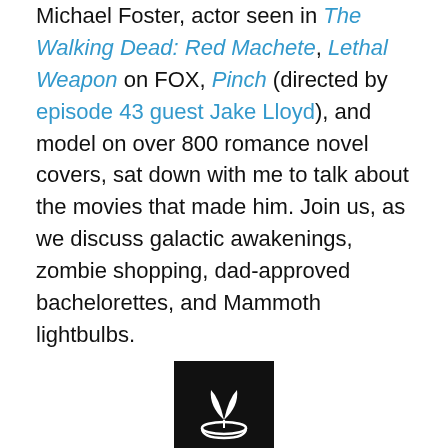Michael Foster, actor seen in The Walking Dead: Red Machete, Lethal Weapon on FOX, Pinch (directed by episode 43 guest Jake Lloyd), and model on over 800 romance novel covers, sat down with me to talk about the movies that made him. Join us, as we discuss galactic awakenings, zombie shopping, dad-approved bachelorettes, and Mammoth lightbulbs.
[Figure (logo): Black square logo with a white plant sprouting from a white bowl/pot — podcasting or media brand logo]
Have something to say about Michael's influential movies?  Want to share a comment or ask me a question?  It's easy to reach me!  Just visit the Contact Us page to send me a message, or you can email directly at moviesmademepod@gmail.com.
Love Movies Made Me? Please help me spread the word